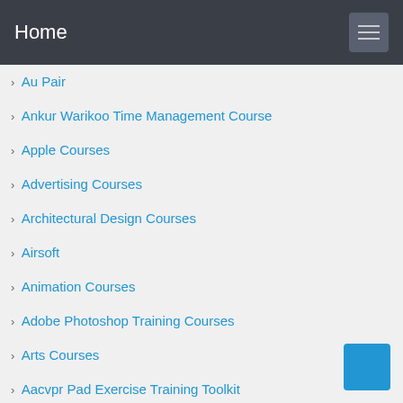Home
Au Pair
Ankur Warikoo Time Management Course
Apple Courses
Advertising Courses
Architectural Design Courses
Airsoft
Animation Courses
Adobe Photoshop Training Courses
Arts Courses
Aacvpr Pad Exercise Training Toolkit
Alms Courses That Gives Promotions Points
Aarp Computer Training For Seniors